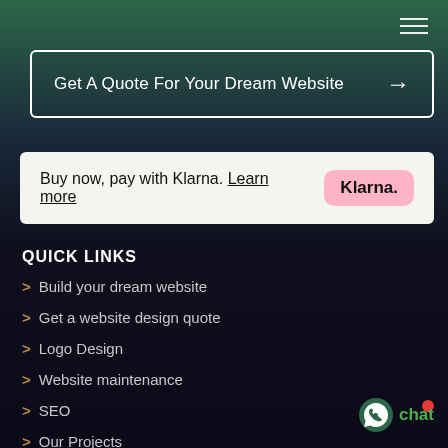[Figure (other): Hamburger menu icon (three horizontal lines) in top-right corner]
Get A Quote For Your Dream Website →
Buy now, pay with Klarna. Learn more  Klarna.
QUICK LINKS
> Build your dream website
> Get a website design quote
> Logo Design
> Website maintenance
> SEO
> Our Projects
[Figure (other): WhatsApp chat button with green WhatsApp icon and 'chat' text label, red notification dot above]